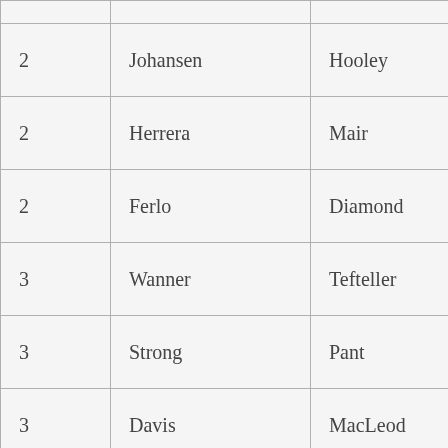| 2 | Johansen | Hooley |
| 2 | Herrera | Mair |
| 2 | Ferlo | Diamond |
| 3 | Wanner | Tefteller |
| 3 | Strong | Pant |
| 3 | Davis | MacLeod |
| 4 | Foster | Cain |
| 4 | Carroll | Young |
| 4 |  | Gardner |
| 5 | Diamond | Elliot |